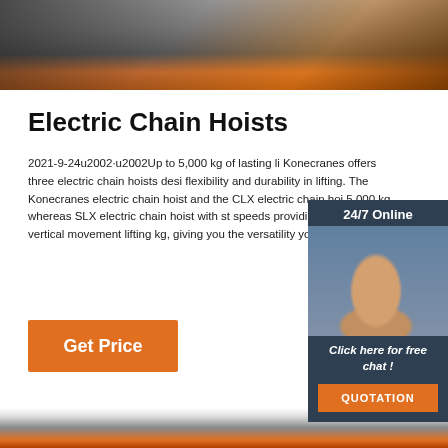[Figure (photo): Industrial overhead crane or hoist equipment in a factory setting, showing orange machinery and metal beams]
Electric Chain Hoists
2021-9-24u2002·u2002Up to 5,000 kg of lasting li Konecranes offers three electric chain hoists desi flexibility and durability in lifting. The Konecranes electric chain hoist and the CLX electric chain hoi 5,000 kg, whereas SLX electric chain hoist with st speeds providing smooth vertical movement lifting kg, giving you the versatility you ...
[Figure (photo): 24/7 Online customer service representative - woman with headset smiling]
Click here for free chat !
QUOTATION
Get Price
[Figure (photo): Industrial facility or crane equipment at bottom of page]